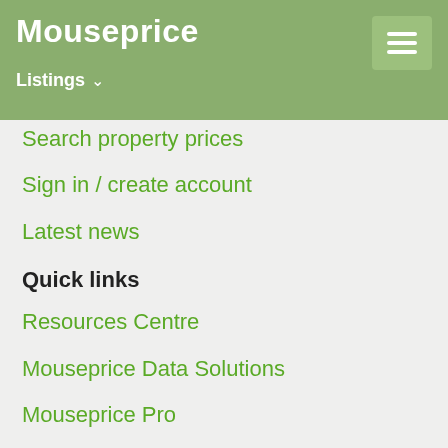Mouseprice
Listings
Search property prices
Sign in / create account
Latest news
Quick links
Resources Centre
Mouseprice Data Solutions
Mouseprice Pro
Site map
PropertyHeads Group
PropertyHeads
About PHG
Contact us